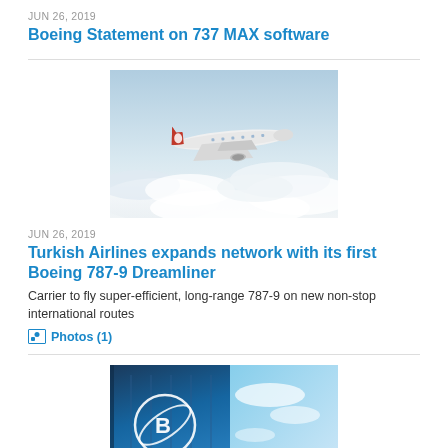JUN 26, 2019
Boeing Statement on 737 MAX software
[Figure (photo): Turkish Airlines Boeing 787-9 Dreamliner aircraft flying above clouds]
JUN 26, 2019
Turkish Airlines expands network with its first Boeing 787-9 Dreamliner
Carrier to fly super-efficient, long-range 787-9 on new non-stop international routes
Photos (1)
[Figure (photo): Boeing logo on a blue-tinted building exterior with sky background]
JUN 26, 2019